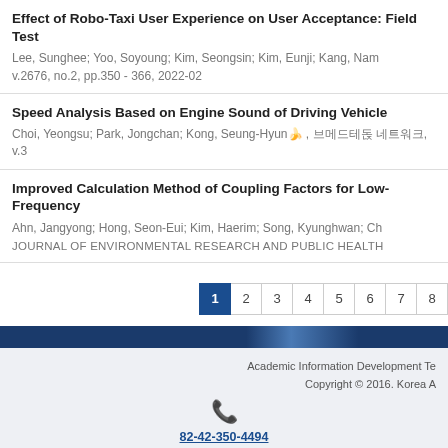Effect of Robo-Taxi User Experience on User Acceptance: Field Test
Lee, Sunghee; Yoo, Soyoung; Kim, Seongsin; Kim, Eunji; Kang, Nam
v.2676, no.2, pp.350 - 366, 2022-02
Speed Analysis Based on Engine Sound of Driving Vehicle
Choi, Yeongsu; Park, Jongchan; Kong, Seung-Hyun 🏺 , 한국어학회 논문, v.3
Improved Calculation Method of Coupling Factors for Low-Frequency
Ahn, Jangyong; Hong, Seon-Eui; Kim, Haerim; Song, Kyunghwan; Ch
JOURNAL OF ENVIRONMENTAL RESEARCH AND PUBLIC HEALTH
1 2 3 4 5 6 7 8
Academic Information Development Te
Copyright © 2016. Korea A
82-42-350-4494